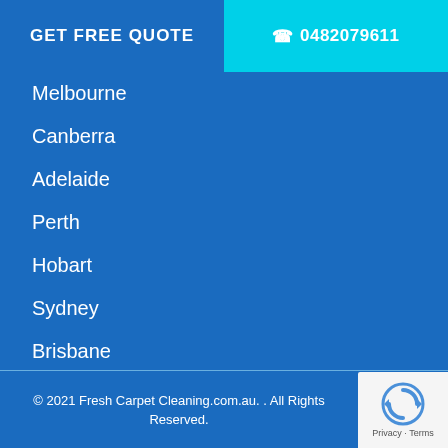GET FREE QUOTE
☎ 0482079611
Melbourne
Canberra
Adelaide
Perth
Hobart
Sydney
Brisbane
© 2021 Fresh Carpet Cleaning.com.au. . All Rights Reserved.